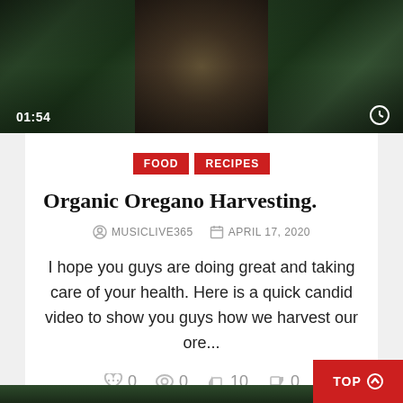[Figure (screenshot): Video thumbnail of oregano plant being harvested with timestamp 01:54 and clock icon overlay]
FOOD   RECIPES
Organic Oregano Harvesting.
MUSICLIVE365   APRIL 17, 2020
I hope you guys are doing great and taking care of your health. Here is a quick candid video to show you guys how we harvest our ore...
0  0  10  0
CONTINUE READING
TOP ➔